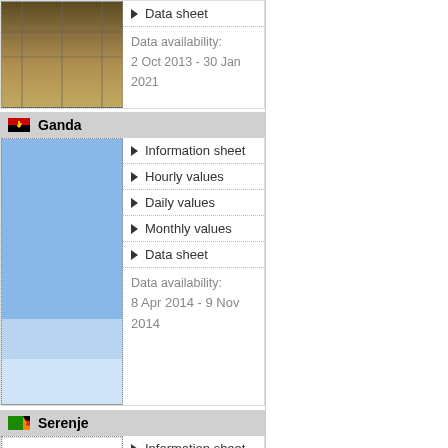Data sheet
Data availability:
2 Oct 2013 - 30 Jan 2021
Ganda
Information sheet
Hourly values
Daily values
Monthly values
Data sheet
Data availability:
8 Apr 2014 - 9 Nov 2014
Serenje
Information sheet
Hourly values
Daily values
Monthly values
Data sheet
Data availability:
7 Oct 2013 - 13 Feb 2018
Gove
Information sheet
Hourly values
Daily values
Monthly values